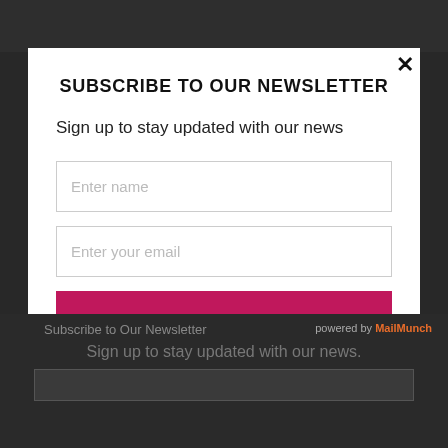SUBSCRIBE TO OUR NEWSLETTER
Sign up to stay updated with our news
Enter name
Enter your email
Subscribe
Subscribe to Our Newsletter
Sign up to stay updated with our news.
powered by MailMunch